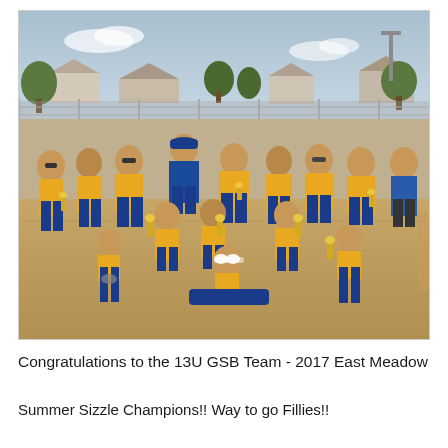[Figure (photo): Group photo of the 13U GSB Fillies softball team posing on a dirt baseball field. Players are wearing gold/yellow sleeveless jerseys and blue pants. They are holding trophies. A coach in a blue jacket stands in the back center. Some players are kneeling or sitting in front. A chain-link fence, trees, and buildings are visible in the background.]
Congratulations to the 13U GSB Team - 2017 East Meadow
Summer Sizzle Champions!! Way to go Fillies!!